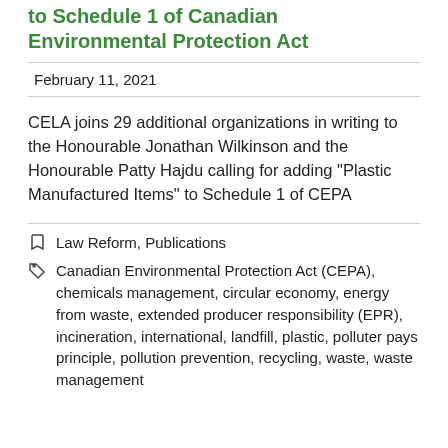to Schedule 1 of Canadian Environmental Protection Act
February 11, 2021
CELA joins 29 additional organizations in writing to the Honourable Jonathan Wilkinson and the Honourable Patty Hajdu calling for adding “Plastic Manufactured Items” to Schedule 1 of CEPA
Law Reform, Publications
Canadian Environmental Protection Act (CEPA), chemicals management, circular economy, energy from waste, extended producer responsibility (EPR), incineration, international, landfill, plastic, polluter pays principle, pollution prevention, recycling, waste, waste management